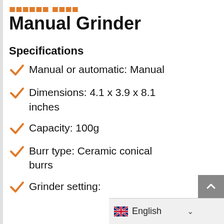Manual Grinder
Specifications
Manual or automatic: Manual
Dimensions: 4.1 x 3.9 x 8.1 inches
Capacity: 100g
Burr type: Ceramic conical burrs
Grinder setting: